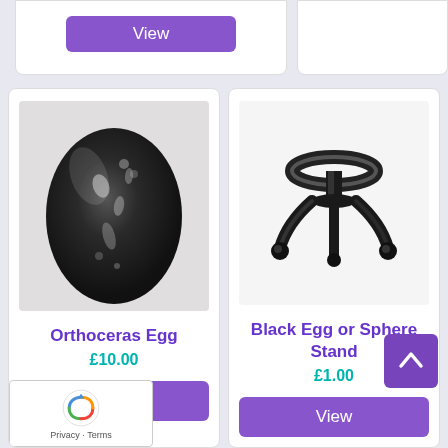[Figure (photo): Partial view of a purple 'View' button at the top of the left product card from above]
[Figure (photo): Dark egg-shaped orthoceras fossil stone, dark grey/black with white fossil impressions]
Orthoceras Egg
£10.00
View
[Figure (photo): Black plastic egg or sphere display stand with three curved legs and a round ring on top, on white background]
Black Egg or Sphere Stand
£1.00
View